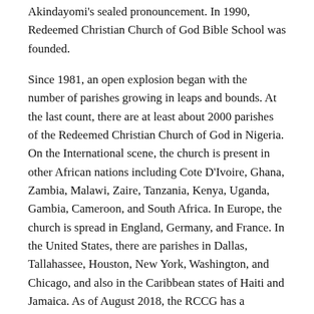Akindayomi's sealed pronouncement. In 1990, Redeemed Christian Church of God Bible School was founded.
Since 1981, an open explosion began with the number of parishes growing in leaps and bounds. At the last count, there are at least about 2000 parishes of the Redeemed Christian Church of God in Nigeria. On the International scene, the church is present in other African nations including Cote D'Ivoire, Ghana, Zambia, Malawi, Zaire, Tanzania, Kenya, Uganda, Gambia, Cameroon, and South Africa. In Europe, the church is spread in England, Germany, and France. In the United States, there are parishes in Dallas, Tallahassee, Houston, New York, Washington, and Chicago, and also in the Caribbean states of Haiti and Jamaica. As of August 2018, the RCCG has a presence in 198 countries of the world. In